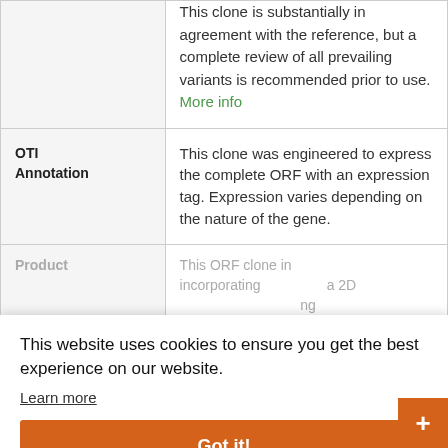| Field | Description |
| --- | --- |
|  | This clone is substantially in agreement with the reference, but a complete review of all prevailing variants is recommended prior to use. More info |
| OTI Annotation | This clone was engineered to express the complete ORF with an expression tag. Expression varies depending on the nature of the gene. |
| Product | This ORF clone is incorporating a 2D ... ing ... ied ... n 100 |
| Reconstitution | ... ain |
This website uses cookies to ensure you get the best experience on our website. Learn more
Got it!
Live Chat Online